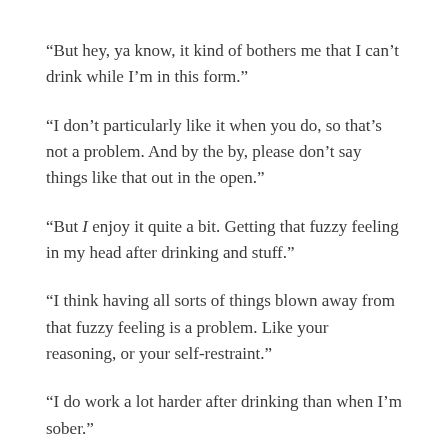“But hey, ya know, it kind of bothers me that I can’t drink while I’m in this form.”
“I don’t particularly like it when you do, so that’s not a problem. And by the by, please don’t say things like that out in the open.”
“But I enjoy it quite a bit. Getting that fuzzy feeling in my head after drinking and stuff.”
“I think having all sorts of things blown away from that fuzzy feeling is a problem. Like your reasoning, or your self-restraint.”
“I do work a lot harder after drinking than when I’m sober.”